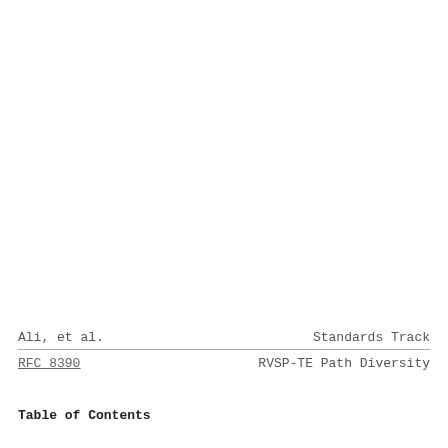Ali, et al.    Standards Track
RFC 8390    RVSP-TE Path Diversity
Table of Contents